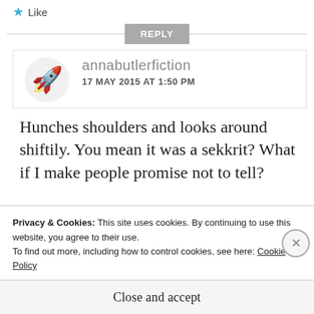★ Like
REPLY
annabutlerfiction
17 MAY 2015 AT 1:50 PM
Hunches shoulders and looks around shiftily. You mean it was a sekkrit? What if I make people promise not to tell?
Privacy & Cookies: This site uses cookies. By continuing to use this website, you agree to their use.
To find out more, including how to control cookies, see here: Cookie Policy
Close and accept